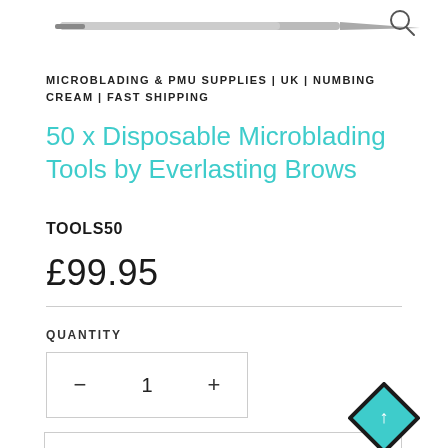[Figure (photo): Partial view of a microblading tool (tweezers/pen) and a search icon at top of page]
MICROBLADING & PMU SUPPLIES | UK | NUMBING CREAM | FAST SHIPPING
50 x Disposable Microblading Tools by Everlasting Brows
TOOLS50
£99.95
QUANTITY
- 1 +
Add to cart